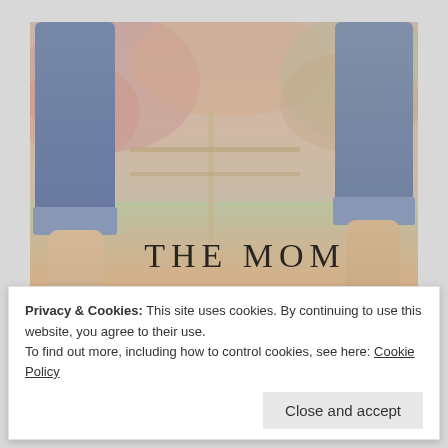[Figure (photo): Outdoor autumn scene showing two people's lower legs in rolled-up jeans and bare feet standing on grass covered with fallen leaves, with a wooden fence and colorful foliage in the background. Text overlay reads 'THE MOM WHO RUNS' in serif capitals.]
THE MOM WHO RUNS
Privacy & Cookies: This site uses cookies. By continuing to use this website, you agree to their use.
To find out more, including how to control cookies, see here: Cookie Policy
Close and accept